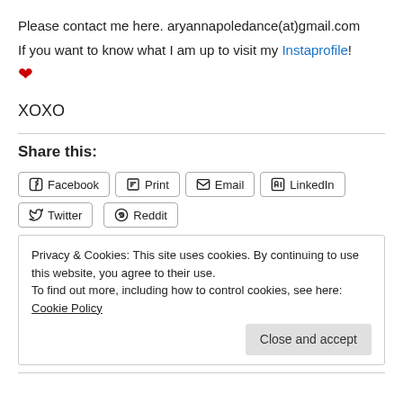Please contact me here. aryannapoledance(at)gmail.com
If you want to know what I am up to visit my Instaprofile!
❤
XOXO
Share this:
Facebook | Print | Email | LinkedIn | Twitter | Reddit
Privacy & Cookies: This site uses cookies. By continuing to use this website, you agree to their use.
To find out more, including how to control cookies, see here: Cookie Policy
Close and accept